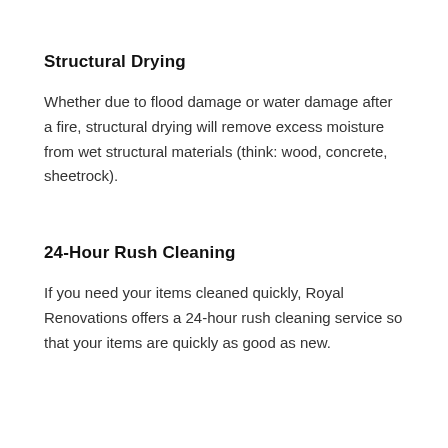Structural Drying
Whether due to flood damage or water damage after a fire, structural drying will remove excess moisture from wet structural materials (think: wood, concrete, sheetrock).
24-Hour Rush Cleaning
If you need your items cleaned quickly, Royal Renovations offers a 24-hour rush cleaning service so that your items are quickly as good as new.